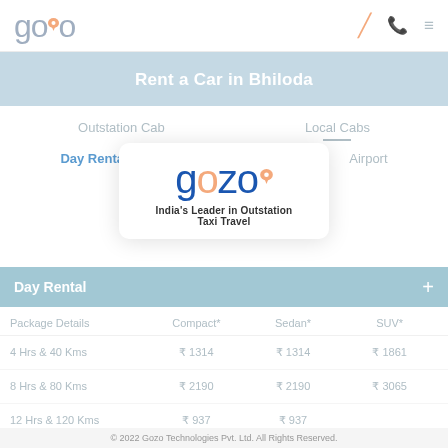[Figure (logo): Gozo logo in header with location pin icon]
Rent a Car in Bhiloda
Outstation Cab
Local Cabs
Day Rental
Airport
[Figure (logo): Gozo popup logo with tagline: India's Leader in Outstation Taxi Travel]
Day Rental
| Package Details | Compact* | Sedan* | SUV* |
| --- | --- | --- | --- |
| 4 Hrs & 40 Kms | ₹ 1314 | ₹ 1314 | ₹ 1861 |
| 8 Hrs & 80 Kms | ₹ 2190 | ₹ 2190 | ₹ 3065 |
| 12 Hrs & 120 Kms | ₹ 937 | ₹ 937 |  |
© 2022 Gozo Technologies Pvt. Ltd. All Rights Reserved.